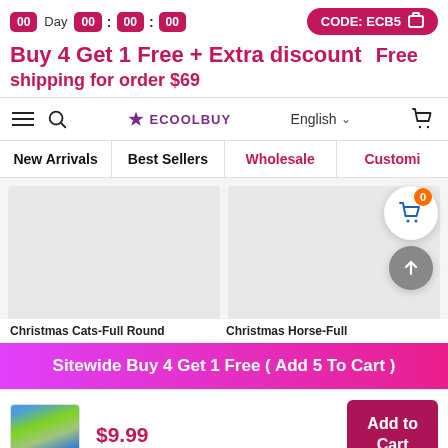00 Day 00 : 00 : 00   CODE: ECB5
Buy 4 Get 1 Free + Extra discount   Free shipping for order $69
[Figure (screenshot): Navigation bar with hamburger menu, search icon, ECOOLBUY logo, English language selector, and cart icon]
New Arrivals
Best Sellers
Wholesale
Customi...
[Figure (screenshot): Two product image placeholders (Christmas Cats-Full Round and Christmas Horse-Full) with floating cart bubble showing 0 items and scroll-to-top button]
Christmas Cats-Full Round   Christmas Horse-Full
Sitewide Buy 4 Get 1 Free ( Add 5 To Cart )
[Figure (photo): Small thumbnail of a mountain lake landscape painting]
$9.99
Add to Cart